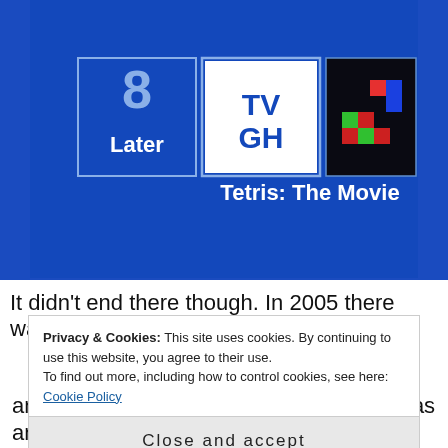[Figure (screenshot): Screenshot of a blue TV broadcast screen showing 'Later 8', 'TV GH' logo, a Tetris game image, and text 'Tetris: The Movie']
It didn't end there though. In 2005 there was
Privacy & Cookies: This site uses cookies. By continuing to use this website, you agree to their use.
To find out more, including how to control cookies, see here: Cookie Policy
Close and accept
and Chris Morris, and again although it was an